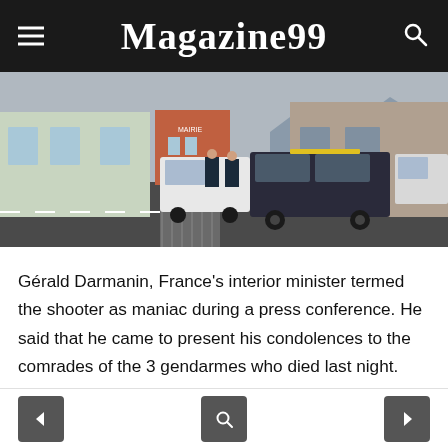Magazine99
[Figure (photo): Police/gendarmes officers standing in a town square in front of a mairie (town hall) with police vehicles parked nearby. Stone and painted buildings visible in the background with mountains.]
Gérald Darmanin, France's interior minister termed the shooter as maniac during a press conference. He said that he came to present his condolences to the comrades of the 3 gendarmes who died last night. The whole nation is mourning for them and he also asked people to never forget those
< [search icon] >